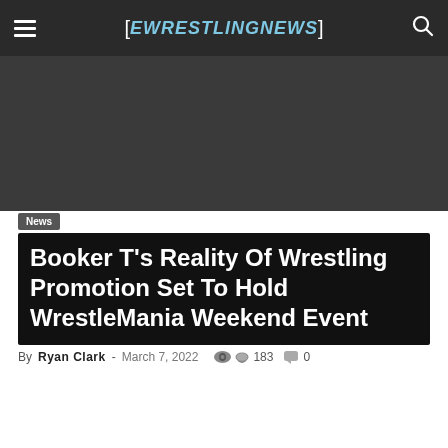[EWRESTLINGNEWS]
News
Booker T’s Reality Of Wrestling Promotion Set To Hold WrestleMania Weekend Event
By Ryan Clark - March 7, 2022  183  0